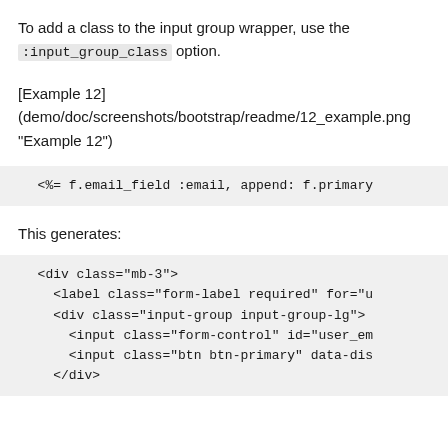To add a class to the input group wrapper, use the :input_group_class option.
[Example 12]
(demo/doc/screenshots/bootstrap/readme/12_example.png
"Example 12")
<%= f.email_field :email, append: f.primary
This generates:
<div class="mb-3">
    <label class="form-label required" for="u
    <div class="input-group input-group-lg">
      <input class="form-control" id="user_em
      <input class="btn btn-primary" data-dis
    </div>